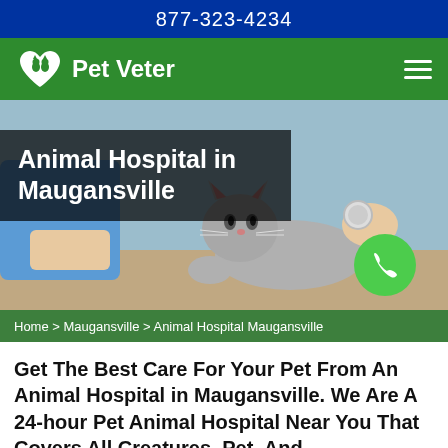877-323-4234
Pet Veter
[Figure (photo): A gray cat being examined by a veterinarian wearing blue scrubs, with a stethoscope]
Animal Hospital in Maugansville
Home > Maugansville > Animal Hospital Maugansville
Get The Best Care For Your Pet From An Animal Hospital in Maugansville. We Are A 24-hour Pet Animal Hospital Near You That Covers All Creatures, Pet, And